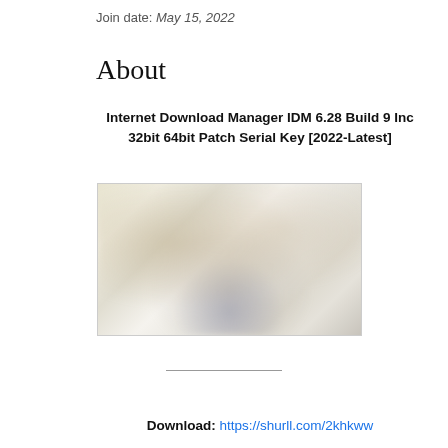Join date: May 15, 2022
About
Internet Download Manager IDM 6.28 Build 9 Inc 32bit 64bit Patch Serial Key [2022-Latest]
[Figure (screenshot): Blurred/obscured screenshot of a software interface, likely Internet Download Manager]
Download: https://shurll.com/2khkww